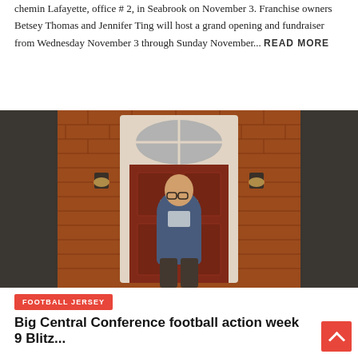chemin Lafayette, office # 2, in Seabrook on November 3. Franchise owners Betsey Thomas and Jennifer Ting will host a grand opening and fundraiser from Wednesday November 3 through Sunday November... READ MORE
[Figure (photo): A man in a blue vest and light blue shirt stands in front of a red brick building with a red door featuring an arched transom window and wall-mounted lantern lights.]
FOOTBALL JERSEY
Big Central Conference football action week 9 Blitz...